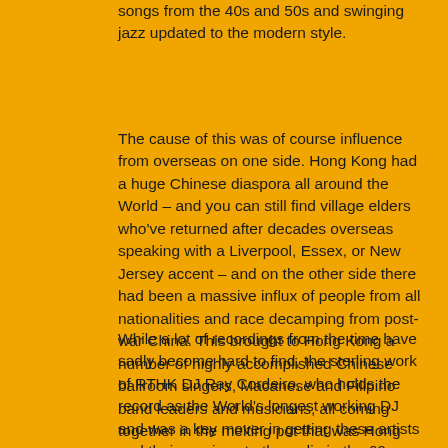songs from the 40s and 50s and swinging jazz updated to the modern style.
The cause of this was of course influence from overseas on one side. Hong Kong had a huge Chinese diaspora all around the World – and you can still find village elders who've returned after decades overseas speaking with a Liverpool, Essex, or New Jersey accent – and on the other side there had been a massive influx of people from all nationalities and race decamping from post-war China. This brought to Hong Kong a number of highly accomplished Chinese ballroom singers, Macanese and Filipino band leaders and musicians, all coming together in the melting pot that was Hong Kong at the time.
While a lot of recordings from the time have sadly become hard to find, the sterling work of RTHK DJ Ray Cordeiro, who holds the record as the World's longest working DJ and was a key mover in getting these artists and their music onto the radio in the 60s, and later entertainment impresario Anders Nelsson who grew up in Hong Kong, has helped keep these names and their music alive so that there's a rich vein to tap